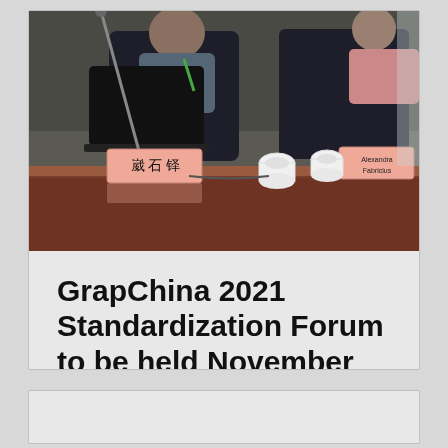[Figure (photo): Conference room meeting photo showing participants seated at a table with name placards reading Chinese characters and 'Alexandra Fabricius', with a laptop, microphone, and tea cups visible on the table.]
GrapChina 2021 Standardization Forum to be held November 13, 2021, Shanghai, China